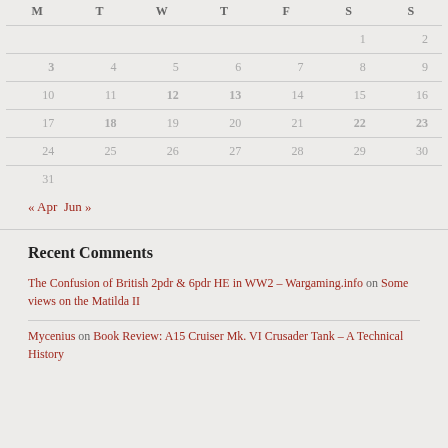| M | T | W | T | F | S | S |
| --- | --- | --- | --- | --- | --- | --- |
|  |  |  |  |  | 1 | 2 |
| 3 | 4 | 5 | 6 | 7 | 8 | 9 |
| 10 | 11 | 12 | 13 | 14 | 15 | 16 |
| 17 | 18 | 19 | 20 | 21 | 22 | 23 |
| 24 | 25 | 26 | 27 | 28 | 29 | 30 |
| 31 |  |  |  |  |  |  |
« Apr   Jun »
Recent Comments
The Confusion of British 2pdr & 6pdr HE in WW2 – Wargaming.info on Some views on the Matilda II
Mycenius on Book Review: A15 Cruiser Mk. VI Crusader Tank – A Technical History